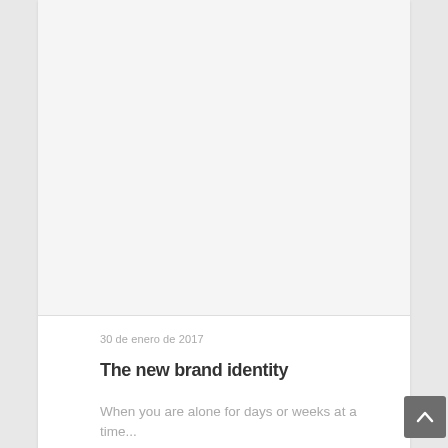[Figure (other): Large blank/white image area at the top of the card]
30 de enero de 2017
The new brand identity
When you are alone for days or weeks at a time...